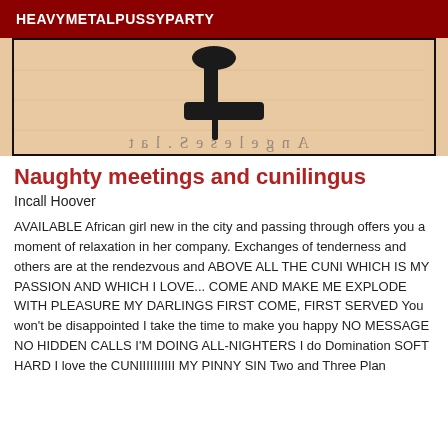HEAVYMETALPUSSYPARTY
[Figure (photo): Partial photo showing a high-heeled shoe on a light wooden surface, with mirrored/reversed text watermark at the bottom reading 'AngelsexS.tal' or similar]
Naughty meetings and cunilingus
Incall Hoover
AVAILABLE African girl new in the city and passing through offers you a moment of relaxation in her company. Exchanges of tenderness and others are at the rendezvous and ABOVE ALL THE CUNI WHICH IS MY PASSION AND WHICH I LOVE... COME AND MAKE ME EXPLODE WITH PLEASURE MY DARLINGS FIRST COME, FIRST SERVED You won't be disappointed I take the time to make you happy NO MESSAGE NO HIDDEN CALLS I'M DOING ALL-NIGHTERS I do Domination SOFT HARD I love the CUNIIIIIIIIII MY PINNY SIN Two and Three Plan